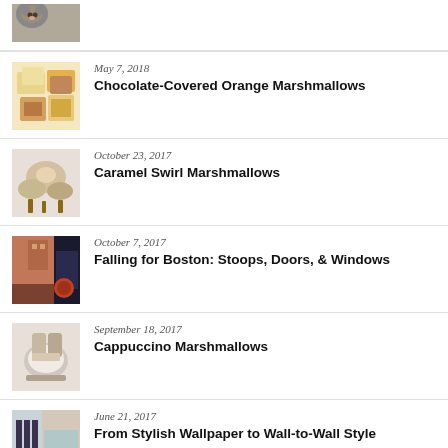[Figure (photo): Partial image of a cat visible at top of page]
May 7, 2018 — Chocolate-Covered Orange Marshmallows
October 23, 2017 — Caramel Swirl Marshmallows
October 7, 2017 — Falling for Boston: Stoops, Doors, & Windows
September 18, 2017 — Cappuccino Marshmallows
June 21, 2017 — From Stylish Wallpaper to Wall-to-Wall Style